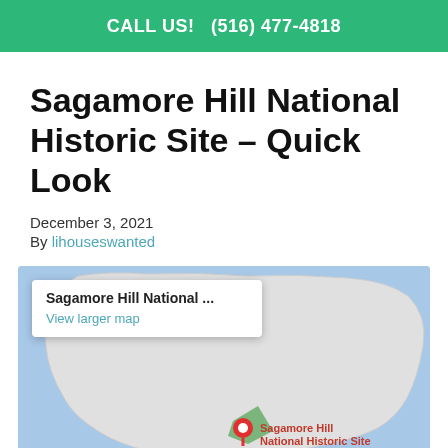CALL US!   (516) 477-4818
Sagamore Hill National Historic Site – Quick Look
December 3, 2021
By lihouseswanted
[Figure (map): Google Maps embed showing Sagamore Hill National Historic Site location with a popup reading 'Sagamore Hill National ...' and a 'View larger map' link. The map shows a peninsula/land area in light grey against a blue water background, with a red location pin and green area marker near the bottom labeled 'Sagamore Hill National Historic Site'.]